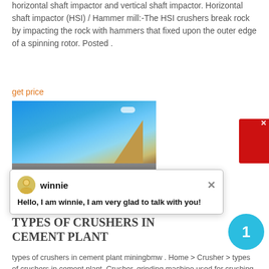horizontal shaft impactor and vertical shaft impactor. Horizontal shaft impactor (HSI) / Hammer mill:-The HSI crushers break rock by impacting the rock with hammers that fixed upon the outer edge of a spinning rotor. Posted .
get price
[Figure (photo): Photograph showing blue sky with a cement/limestone structure visible at bottom, and below it a quarry/crushing plant ground-level scene with machinery and rubble.]
[Figure (screenshot): Chat popup widget with avatar of 'winnie', a close (x) button, and message: Hello, I am winnie, I am very glad to talk with you!]
TYPES OF CRUSHERS IN CEMENT PLANT
types of crushers in cement plant miningbmw . Home > Crusher > types of crushers in cement plant. Crusher, grinding machine used for crushing in stone quarry, coal, cement plant, mineral ore mining. Print. types of crushers in cement plant. Posted There